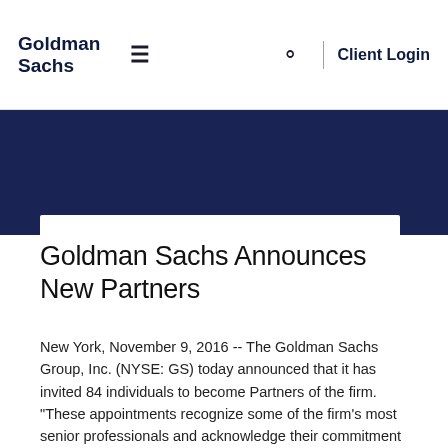Goldman Sachs | ≡ | 🔍 | Client Login
[Figure (other): Dark navy blue banner/hero image area with a back arrow icon on the right side]
Goldman Sachs Announces New Partners
New York, November 9, 2016 -- The Goldman Sachs Group, Inc. (NYSE: GS) today announced that it has invited 84 individuals to become Partners of the firm.
"These appointments recognize some of the firm's most senior professionals and acknowledge their commitment to